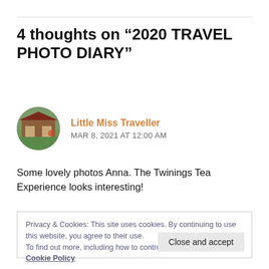4 thoughts on “2020 TRAVEL PHOTO DIARY”
[Figure (photo): Circular avatar photo showing an outdoor scene with a building/gazebo and reddish roof, green plants, used as commenter profile picture]
Little Miss Traveller
MAR 8, 2021 AT 12:00 AM
Some lovely photos Anna. The Twinings Tea Experience looks interesting!
Privacy & Cookies: This site uses cookies. By continuing to use this website, you agree to their use.
To find out more, including how to control cookies, see here: Cookie Policy
Close and accept